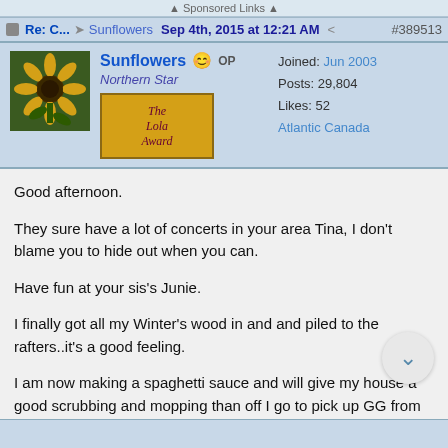▲ Sponsored Links ▲
Re: C... → Sunflowers  Sep 4th, 2015 at 12:21 AM  #389513
| Sunflowers 😊 OP | Joined: Jun 2003 |
| Northern Star | Posts: 29,804 |
| The Lola Award | Likes: 52 |
|  | Atlantic Canada |
Good afternoon.

They sure have a lot of concerts in your area Tina, I don't blame you to hide out when you can.

Have fun at your sis's Junie.

I finally got all my Winter's wood in and and piled to the rafters..it's a good feeling.

I am now making a spaghetti sauce and will give my house a good scrubbing and mopping than off I go to pick up GG from her sleepover.